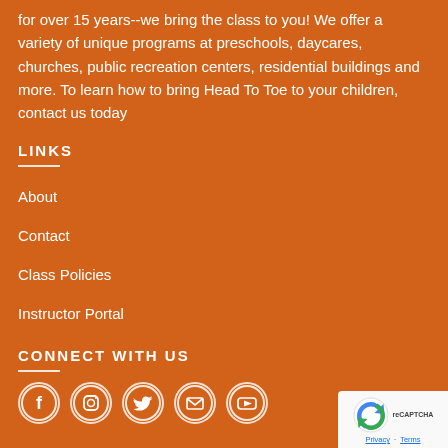for over 15 years--we bring the class to you! We offer a variety of unique programs at preschools, daycares, churches, public recreation centers, residential buildings and more. To learn how to bring Head To Toe to your children, contact us today
LINKS
About
Contact
Class Policies
Instructor Portal
CONNECT WITH US
[Figure (other): Social media icons: Facebook, Instagram, Twitter, Email, YouTube - white circle outlines on orange background]
[Figure (logo): reCAPTCHA badge with Google logo, Privacy and Terms links]